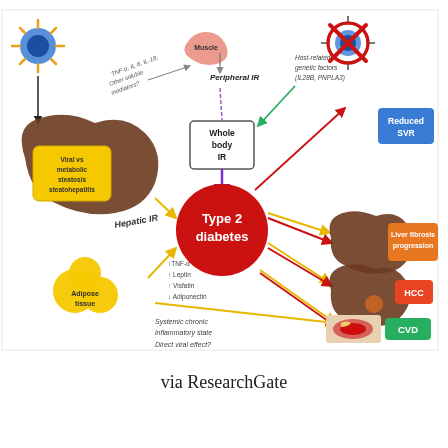[Figure (infographic): Medical infographic showing the relationship between HCV (Hepatitis C Virus), Type 2 diabetes, and associated conditions. A virus particle (top left) connects to a liver showing 'Viral vs metabolic steatosis steatohepatitis'. Arrows show: TNF-α, IL-6, IL-18, Other soluble mediators leading to Peripheral IR and Hepatic IR. Whole body IR is central, connecting to Type 2 diabetes (large red circle in center). Adipose tissue produces ↑TNF-α, ↑Leptin, ↑Visfatin, ↓Adiponectin. Systemic chronic inflammatory state and Direct viral effect? are labeled at bottom. Host-related genetic factors (IL28B, PNPLA3) shown at top with green arrow to Whole body IR. Right side outcomes: Reduced SVR (blue box), Liver fibrosis progression (orange box), HCC (orange box), CVD (green box). A crossed-out virus (top right, red circle) indicates Reduced SVR.]
via ResearchGate